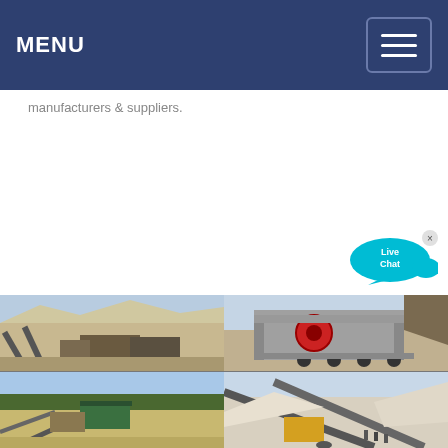MENU
manufacturers & suppliers.
[Figure (photo): Four photos of mining/quarrying crushing equipment and operations: top-left shows an open-pit quarry with conveyor belts and crushers; top-right shows a large jaw crusher mounted on a trailer; bottom-left shows a desert quarry site with conveyor system and green equipment shed; bottom-right shows converging conveyor belts at a white rock quarry with workers visible.]
[Figure (other): Live Chat speech bubble widget (cyan/teal color) with an X close button in top-right corner.]